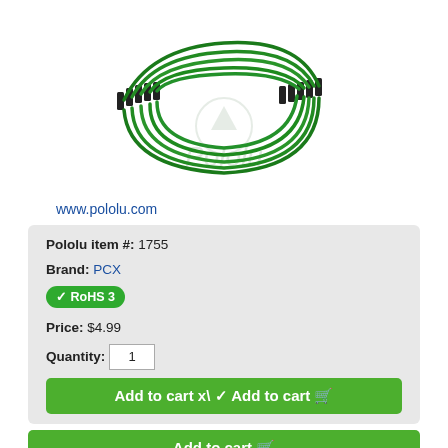[Figure (photo): Green female-to-female jumper wires bundled together, shown coiled, with black connector ends on both sides. Watermark text 'Pololu' visible in background.]
www.pololu.com
Pololu item #: 1755
Brand: PCX
✓ RoHS 3
Price: $4.99
Quantity: 1
Add to cart
Add to wish list